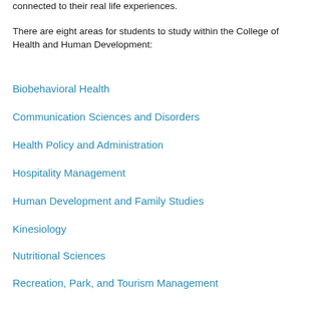connected to their real life experiences.
There are eight areas for students to study within the College of Health and Human Development:
Biobehavioral Health
Communication Sciences and Disorders
Health Policy and Administration
Hospitality Management
Human Development and Family Studies
Kinesiology
Nutritional Sciences
Recreation, Park, and Tourism Management